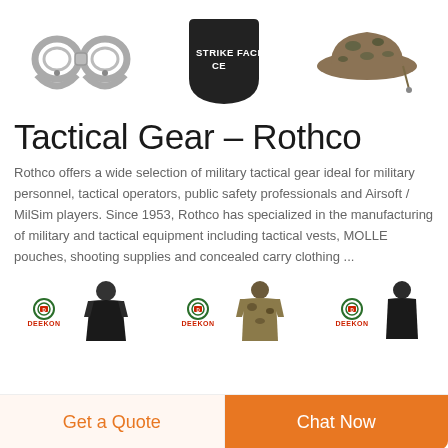[Figure (photo): Three product images: handcuffs (left), black ballistic plate with 'STRIKE FACE' text (center), camouflage boonie hat (right)]
Tactical Gear – Rothco
Rothco offers a wide selection of military tactical gear ideal for military personnel, tactical operators, public safety professionals and Airsoft / MilSim players. Since 1953, Rothco has specialized in the manufacturing of military and tactical equipment including tactical vests, MOLLE pouches, shooting supplies and concealed carry clothing ...
[Figure (photo): Three product thumbnail images each with Deekon logo: tactical vest mannequin (left), camouflage jacket (center), dark tactical gear (right)]
Get a Quote
Chat Now